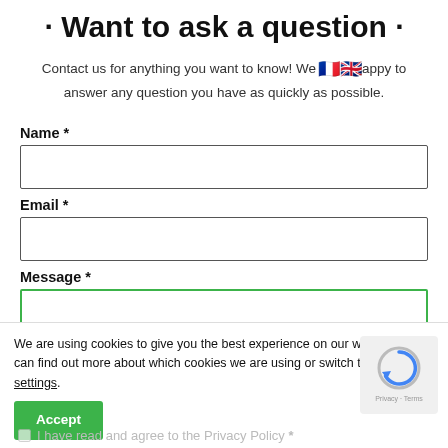· Want to ask a question ·
Contact us for anything you want to know! We are happy to answer any question you have as quickly as possible.
Name *
Email *
Message *
We are using cookies to give you the best experience on our website. You can find out more about which cookies we are using or switch them off in settings.
Accept
I have read and agree to the Privacy Policy *